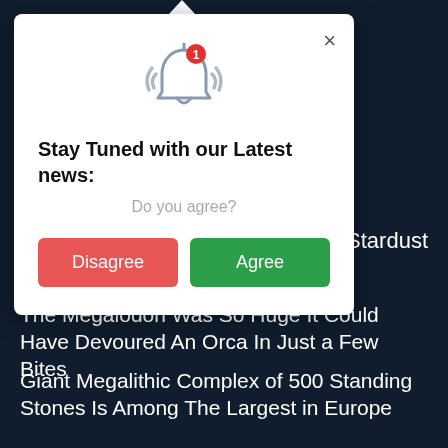[Figure (screenshot): Browser notification permission modal popup with bell icon, 'Stay Tuned with our Latest news:' heading, 'Do you agree?' subtext, and Disagree/Agree buttons]
s of Stardust
The Megalodon Was So Huge It Could Have Devoured An Orca In Just a Few Bites
Giant Megalithic Complex of 500 Standing Stones Is Among The Largest in Europe
NASA Is About to Launch Its Most Powerful Rocket Ever, With a Few Surprises Onboard
Scientists Think They've Found a Shockingly Simple